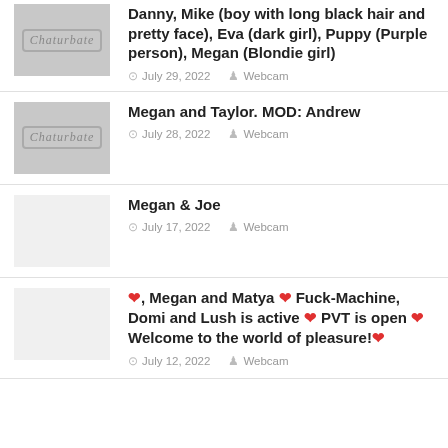Danny, Mike (boy with long black hair and pretty face), Eva (dark girl), Puppy (Purple person), Megan (Blondie girl) — July 29, 2022 — Webcam
Megan and Taylor. MOD: Andrew — July 28, 2022 — Webcam
Megan & Joe — July 17, 2022 — Webcam
❤, Megan and Matya ❤ Fuck-Machine, Domi and Lush is active ❤ PVT is open ❤ Welcome to the world of pleasure!❤ — July 12, 2022 — Webcam